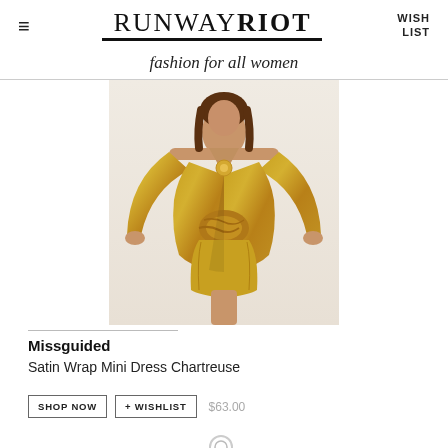RUNWAY RIOT | WISH LIST
fashion for all women
[Figure (photo): Woman wearing a mustard/chartreuse yellow satin wrap mini dress with long sleeves and a front knot detail, hands on hips]
Missguided
Satin Wrap Mini Dress Chartreuse
SHOP NOW   + WISHLIST   $63.00
[Figure (illustration): Small circular icon at bottom of page]